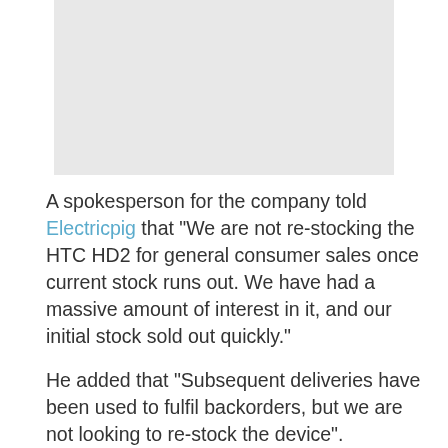[Figure (other): Gray placeholder image block at top of page]
A spokesperson for the company told Electricpig that "We are not re-stocking the HTC HD2 for general consumer sales once current stock runs out. We have had a massive amount of interest in it, and our initial stock sold out quickly."
He added that "Subsequent deliveries have been used to fulfil backorders, but we are not looking to re-stock the device". Vodafone has not confirmed why it would can the HD2 despite only introducing it back in